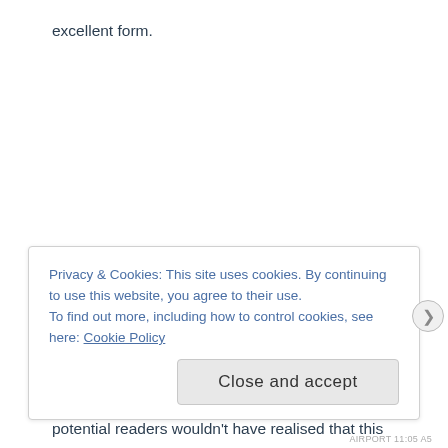excellent form.
A sidenote: in the UK, this is marketed as a stand-alone novel, with no real mention that it is a continuation of The Princess Diaries (which it undoubtedly is). Considering that Meg Cabot has written other series, I can imagine that a lot of potential readers wouldn't have realised that this is Book 11, although it could be read as a stand-alone novel/series. I would definitely recommend reading the other books first, to get acquainted with the characters and the story (some of which I had admittedly forgotten).
Privacy & Cookies: This site uses cookies. By continuing to use this website, you agree to their use.
To find out more, including how to control cookies, see here: Cookie Policy
Close and accept
AIRPORT 11:05 A5